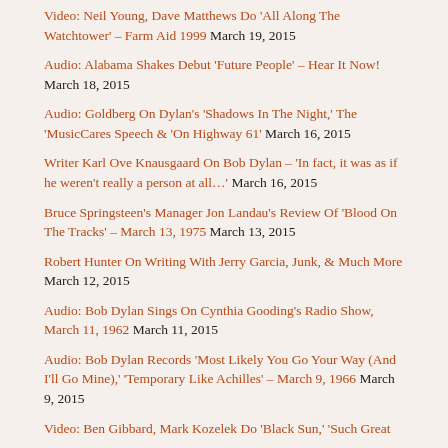Video: Neil Young, Dave Matthews Do 'All Along The Watchtower' – Farm Aid 1999 March 19, 2015
Audio: Alabama Shakes Debut 'Future People' – Hear It Now! March 18, 2015
Audio: Goldberg On Dylan's 'Shadows In The Night,' The 'MusicCares Speech & 'On Highway 61' March 16, 2015
Writer Karl Ove Knausgaard On Bob Dylan – 'In fact, it was as if he weren't really a person at all…' March 16, 2015
Bruce Springsteen's Manager Jon Landau's Review Of 'Blood On The Tracks' – March 13, 1975 March 13, 2015
Robert Hunter On Writing With Jerry Garcia, Junk, & Much More March 12, 2015
Audio: Bob Dylan Sings On Cynthia Gooding's Radio Show, March 11, 1962 March 11, 2015
Audio: Bob Dylan Records 'Most Likely You Go Your Way (And I'll Go Mine),' 'Temporary Like Achilles' – March 9, 1966 March 9, 2015
Video: Ben Gibbard, Mark Kozelek Do 'Black Sun,' 'Such Great